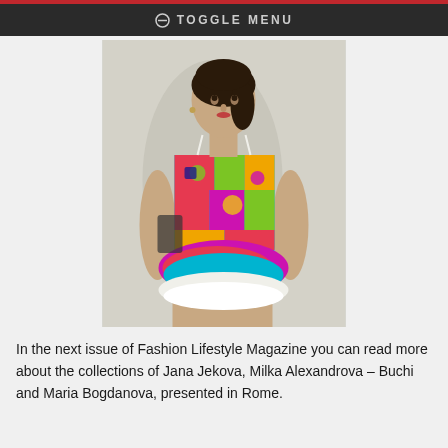⊘ TOGGLE MENU
[Figure (photo): A young woman model wearing a colorful, vibrant patterned mini dress with ruffled hem, posing against a light background. The dress features bold multicolor abstract patterns in red, green, blue, pink, and yellow.]
In the next issue of Fashion Lifestyle Magazine you can read more about the collections of Jana Jekova, Milka Alexandrova – Buchi and Maria Bogdanova, presented in Rome.